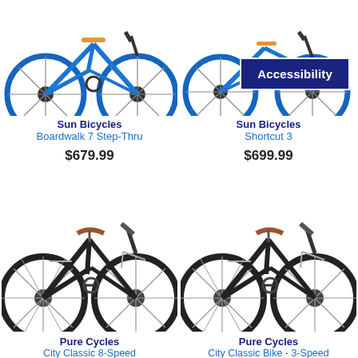[Figure (photo): Blue Sun Bicycles Boardwalk 7 Step-Thru bicycle, top cropped view]
[Figure (photo): Blue Sun Bicycles Shortcut 3 folding/compact bicycle, top cropped view with Accessibility badge overlay]
Sun Bicycles
Boardwalk 7 Step-Thru
$679.99
Sun Bicycles
Shortcut 3
$699.99
[Figure (photo): Black Pure Cycles City Classic 8-Speed city bicycle]
[Figure (photo): Black Pure Cycles City Classic Bike - 3-Speed city bicycle]
Pure Cycles
City Classic 8-Speed
Pure Cycles
City Classic Bike - 3-Speed